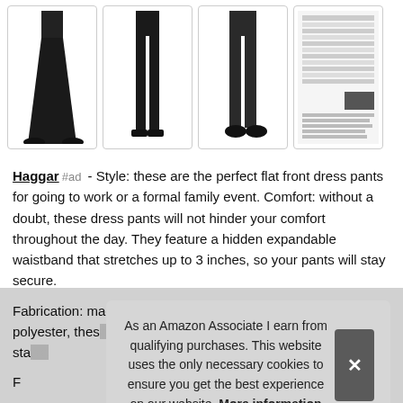[Figure (photo): Four product images showing dress pants, three showing full-length pants on model figures and one showing a size chart]
Haggar #ad - Style: these are the perfect flat front dress pants for going to work or a formal family event. Comfort: without a doubt, these dress pants will not hinder your comfort throughout the day. They feature a hidden expandable waistband that stretches up to 3 inches, so your pants will stay secure.
Fabrication: made of 51% polyester and 49% sorbtek polyester, these ... sta...
As an Amazon Associate I earn from qualifying purchases. This website uses the only necessary cookies to ensure you get the best experience on our website. More information
F...